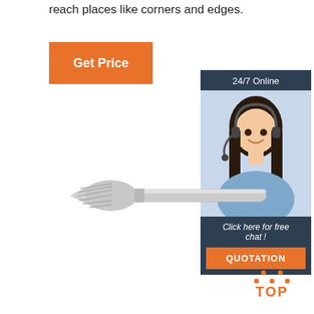reach places like corners and edges.
[Figure (other): Orange 'Get Price' button]
[Figure (other): 24/7 Online chat widget with customer service agent photo, 'Click here for free chat!' text, and orange QUOTATION button]
[Figure (photo): Carbide rotary burr tool with pointed tree shape and long shank, shown on white background]
[Figure (other): Orange 'TOP' button with dotted triangle above it]